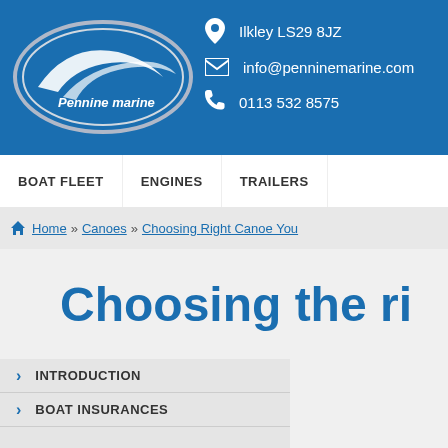[Figure (logo): Pennine marine logo - oval shape with white swoosh and text on blue background]
Ilkley LS29 8JZ
info@penninemarine.com
0113 532 8575
BOAT FLEET   ENGINES   TRAILERS
Home » Canoes » Choosing Right Canoe You
Choosing the ri
INTRODUCTION
BOAT INSURANCES